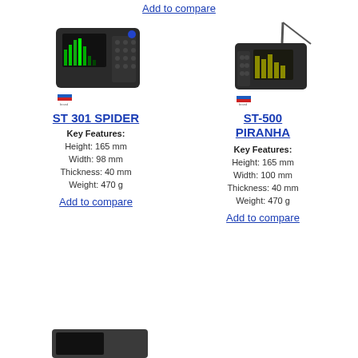Add to compare
[Figure (photo): ST 301 SPIDER handheld device photo with screen showing spectrum and Russian flag logo]
ST 301 SPIDER
Key Features:
Height: 165 mm
Width: 98 mm
Thickness: 40 mm
Weight: 470 g
Add to compare
[Figure (photo): ST-500 PIRANHA handheld device photo with antenna and Russian flag logo]
ST-500 PIRANHA
Key Features:
Height: 165 mm
Width: 100 mm
Thickness: 40 mm
Weight: 470 g
Add to compare
[Figure (photo): Another device photo at the bottom, partially visible]